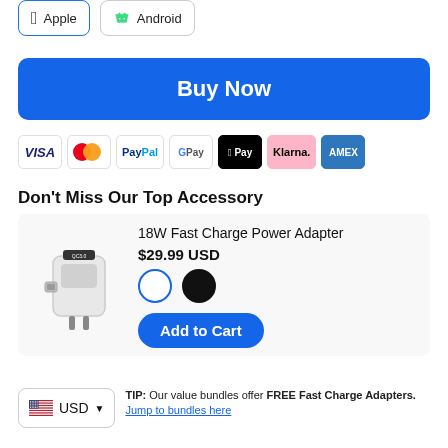[Figure (screenshot): App download buttons: Apple and Android]
[Figure (screenshot): Buy Now blue button]
[Figure (screenshot): Payment icons: VISA, Mastercard, PayPal, G Pay, Apple Pay, Klarna, AMEX]
Don't Miss Our Top Accessory
[Figure (screenshot): Product card: 18W Fast Charge Power Adapter, $29.99 USD, white and black color options, Add to Cart button]
TIP: Our value bundles offer FREE Fast Charge Adapters. Jump to bundles here
[Figure (screenshot): USD currency selector with US flag]